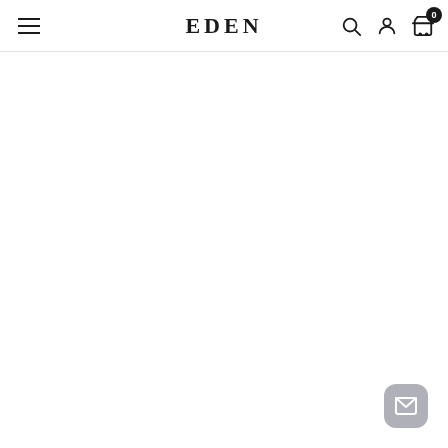EDEN — navigation header with hamburger menu, search, account, and cart (0) icons
[Figure (screenshot): Email/chat floating action button at bottom right corner, rounded rectangle shape in gray]